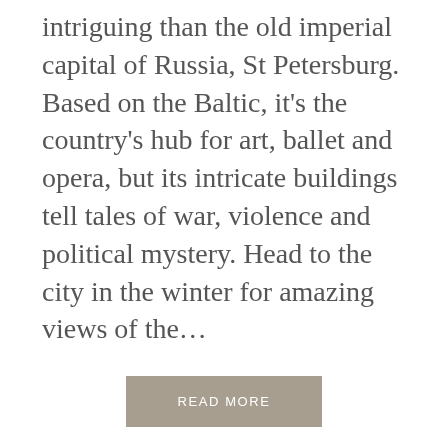intriguing than the old imperial capital of Russia, St Petersburg. Based on the Baltic, it's the country's hub for art, ballet and opera, but its intricate buildings tell tales of war, violence and political mystery. Head to the city in the winter for amazing views of the…
READ MORE
OLDER POSTS
Archives